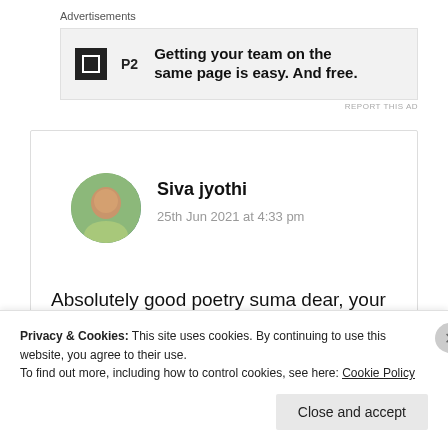Advertisements
[Figure (screenshot): Advertisement banner for P2 with logo icon and text: Getting your team on the same page is easy. And free.]
REPORT THIS AD
Siva jyothi
25th Jun 2021 at 4:33 pm
Absolutely good poetry suma dear, your thoughts are Great 🤌👍👍😍
Privacy & Cookies: This site uses cookies. By continuing to use this website, you agree to their use.
To find out more, including how to control cookies, see here: Cookie Policy
Close and accept